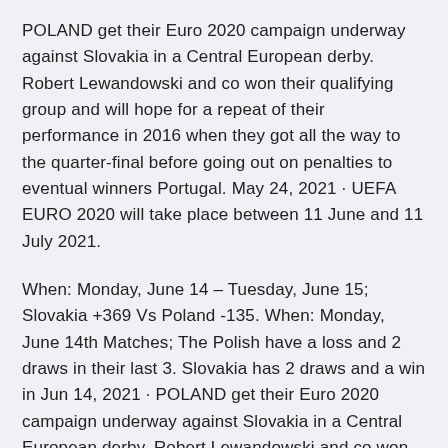POLAND get their Euro 2020 campaign underway against Slovakia in a Central European derby. Robert Lewandowski and co won their qualifying group and will hope for a repeat of their performance in 2016 when they got all the way to the quarter-final before going out on penalties to eventual winners Portugal. May 24, 2021 · UEFA EURO 2020 will take place between 11 June and 11 July 2021.
When: Monday, June 14 – Tuesday, June 15; Slovakia +369 Vs Poland -135. When: Monday, June 14th Matches; The Polish have a loss and 2 draws in their last 3. Slovakia has 2 draws and a win in Jun 14, 2021 · POLAND get their Euro 2020 campaign underway against Slovakia in a Central European derby. Robert Lewandowski and co won their qualifying group and will hope for a repeat of their performance in 2016 when...